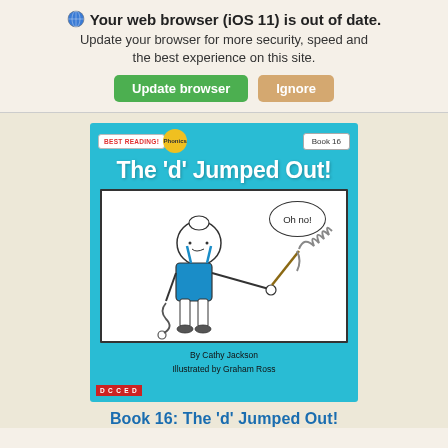Your web browser (iOS 11) is out of date. Update your browser for more security, speed and the best experience on this site.
Update browser   Ignore
[Figure (illustration): Book cover for 'The d Jumped Out!' by Cathy Jackson, illustrated by Graham Ross. A children's phonics book (Book 16) showing a cartoon girl holding a mop with a speech bubble saying 'Oh no!']
Book 16: The 'd' Jumped Out!